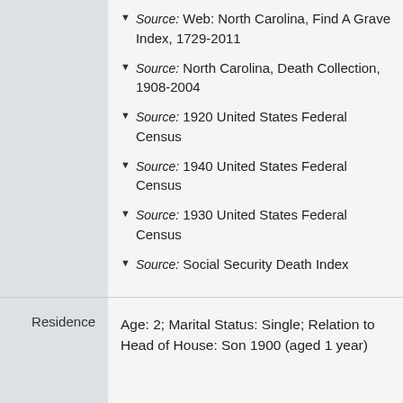Source: Web: North Carolina, Find A Grave Index, 1729-2011
Source: North Carolina, Death Collection, 1908-2004
Source: 1920 United States Federal Census
Source: 1940 United States Federal Census
Source: 1930 United States Federal Census
Source: Social Security Death Index
Age: 2; Marital Status: Single; Relation to Head of House: Son 1900 (aged 1 year)